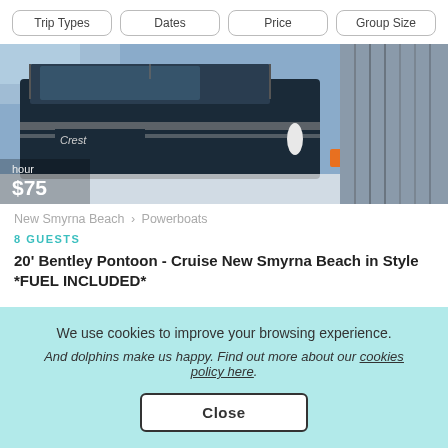Trip Types | Dates | Price | Group Size
[Figure (photo): Close-up photo of a black pontoon boat deck, showing railings, seating area and boat branding. Price overlay shows 'hour' and '$75' in bottom left.]
New Smyrna Beach > Powerboats
8 GUESTS
20' Bentley Pontoon - Cruise New Smyrna Beach in Style *FUEL INCLUDED*
We use cookies to improve your browsing experience.
And dolphins make us happy. Find out more about our cookies policy here.
Close